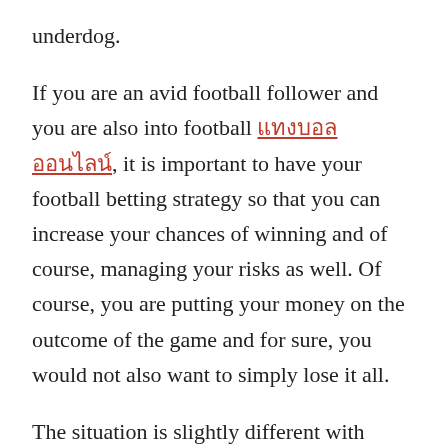underdog.
If you are an avid football follower and you are also into football แทงบอลออนไลน์, it is important to have your football betting strategy so that you can increase your chances of winning and of course, managing your risks as well. Of course, you are putting your money on the outcome of the game and for sure, you would not also want to simply lose it all.
The situation is slightly different with spread betting on the over under goal market. Each goal is worth a number of points. For example, a goal is worth a one point. The spread betting company predicts how many points will be scored. A typical spread would be 2.2 to